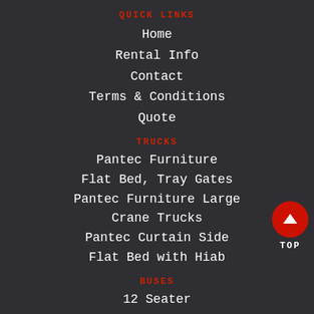QUICK LINKS
Home
Rental Info
Contact
Terms & Conditions
Quote
TRUCKS
Pantec Furniture
Flat Bed, Tray Gates
Pantec Furniture Large
Crane Trucks
Pantec Curtain Side
Flat Bed with Hiab
BUSES
12 Seater